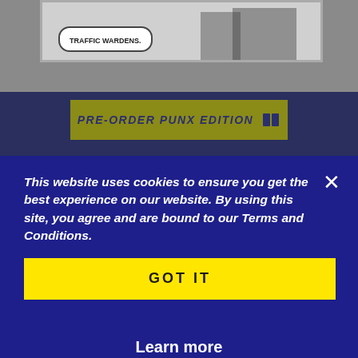[Figure (illustration): Top portion of a comic-style webpage showing a panel with a speech bubble reading 'TRAFFIC WARDENS.' over a grayscale illustrated scene.]
PRE-ORDER PUNX EDITION
This website uses cookies to ensure you get the best experience on our website. By using this site, you agree and are bound to our Terms and Conditions.
GOT IT
Learn more